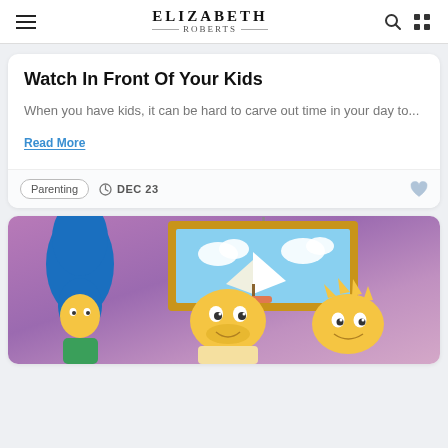ELIZABETH ROBERTS
Watch In Front Of Your Kids
When you have kids, it can be hard to carve out time in your day to...
Read More
Parenting  DEC 23
[Figure (photo): Image of Marge, Homer, and Bart Simpson characters from The Simpsons cartoon, shown against a purple/pink background with a framed sailboat painting on the wall behind them.]